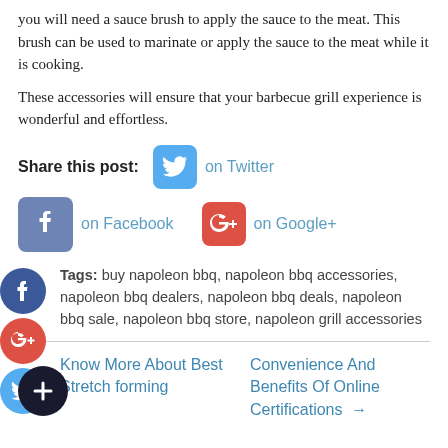you will need a sauce brush to apply the sauce to the meat. This brush can be used to marinate or apply the sauce to the meat while it is cooking.
These accessories will ensure that your barbecue grill experience is wonderful and effortless.
Share this post: on Twitter | on Facebook | on Google+
Tags: buy napoleon bbq, napoleon bbq accessories, napoleon bbq dealers, napoleon bbq deals, napoleon bbq sale, napoleon bbq store, napoleon grill accessories
← Know More About Best Stretch forming
Convenience And Benefits Of Online Certifications →